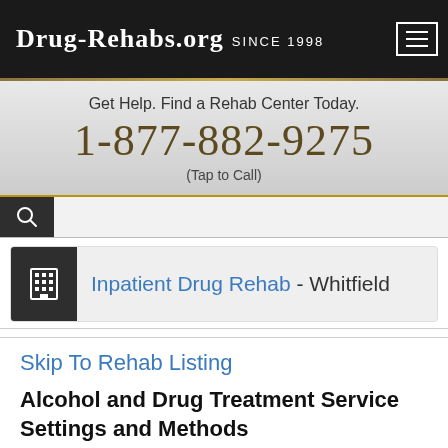Drug-Rehabs.org Since 1998
Get Help. Find a Rehab Center Today.
1-877-882-9275
(Tap to Call)
Inpatient Drug Rehab - Whitfield
Skip To Rehab Listing
Alcohol and Drug Treatment Service Settings and Methods
Many addictive drugs are readily available within the Whitfield region, including: marijuana, heroin,